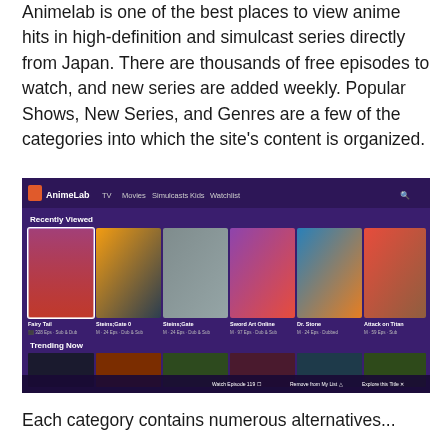Animelab is one of the best places to view anime hits in high-definition and simulcast series directly from Japan. There are thousands of free episodes to watch, and new series are added weekly. Popular Shows, New Series, and Genres are a few of the categories into which the site's content is organized.
[Figure (screenshot): Screenshot of the AnimeLab website showing the navigation bar with TV, Movies, Simulcasts, Kids, Watchlist menus, a 'Recently Viewed' section with anime thumbnails (Fairy Tail, Steins;Gate 0, Steins;Gate, Sword Art Online, Dr. Stone, Attack on Titan), and a 'Trending Now' section below with more anime thumbnails.]
Each category contains numerous alternatives...